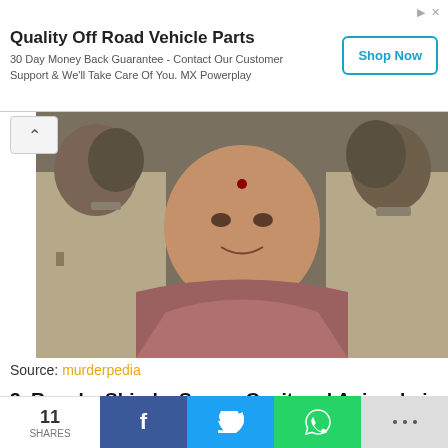[Figure (other): Advertisement banner: Quality Off Road Vehicle Parts, 30 Day Money Back Guarantee - Contact Our Customer Support & We'll Take Care Of You. MX Powerplay. Shop Now button.]
[Figure (photo): A woman wearing a red/pink shawl with a bindi on her forehead, flanked by two police officers in khaki uniforms.]
Source: murderpedia
3. Renuka Shinde, Seema Gavit and Anjanabai Gavit
In a rented room in Gondhale Nagar, Pune, lived